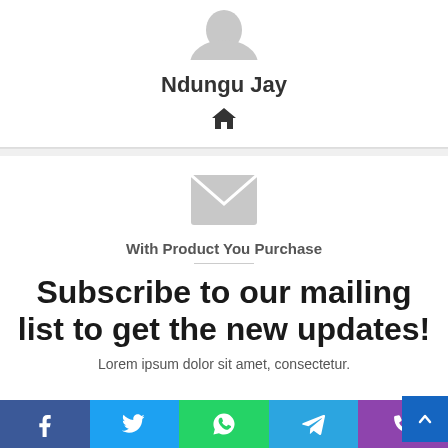[Figure (illustration): Grey avatar silhouette icon at top]
Ndungu Jay
[Figure (illustration): Home icon (house symbol)]
[Figure (illustration): Grey envelope/email icon]
With Product You Purchase
Subscribe to our mailing list to get the new updates!
Lorem ipsum dolor sit amet, consectetur.
Enter your Email address
[Figure (illustration): Social sharing bar with Facebook, Twitter, WhatsApp, Telegram, Phone buttons]